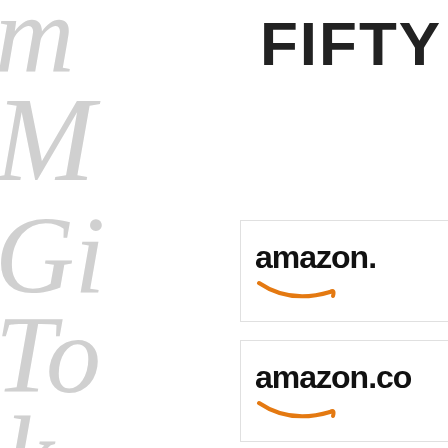[Figure (illustration): Left panel with decorative light grey italic/script watermark text letters: m, M, Gi, To, k, Ha stacked vertically]
FIFTY
[Figure (logo): Amazon logo with smile arrow, text partially cut off: 'amazon.c']
[Figure (logo): Amazon logo with smile arrow, text partially cut off: 'amazon.co']